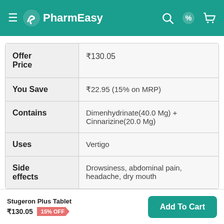PharmEasy
| Field | Value |
| --- | --- |
| Offer Price | ₹130.05 |
| You Save | ₹22.95 (15% on MRP) |
| Contains | Dimenhydrinate(40.0 Mg) + Cinnarizine(20.0 Mg) |
| Uses | Vertigo |
| Side effects | Drowsiness, abdominal pain, headache, dry mouth |
Browse offers and get FLAT 15% OFF
Stugeron Plus Tablet ₹130.05 15% OFF
Add To Cart